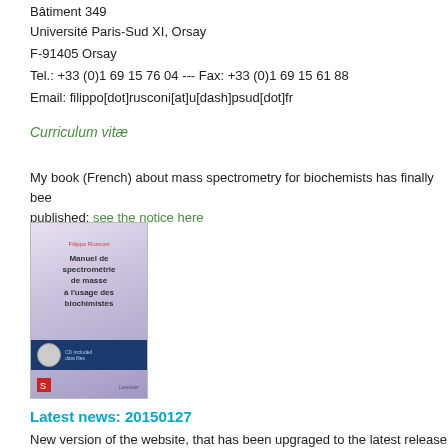Bâtiment 349
Université Paris-Sud XI, Orsay
F-91405 Orsay
Tel.: +33 (0)1 69 15 76 04 --- Fax: +33 (0)1 69 15 61 88
Email: filippo[dot]rusconi[at]u[dash]psud[dot]fr
Curriculum vitæ
My book (French) about mass spectrometry for biochemists has finally been published: see the notice here
[Figure (photo): Book cover of 'Manuel de spectrométrie de masse à l'usage des biochimistes' by Filippo Rusconi, published by Lavoisier. The cover has a purple/lavender gradient background with the title in dark text, a blue bar at the bottom with a CD icon, and a red publisher logo.]
Latest news: 20150127
New version of the website, that has been upgraged to the latest release of PmWiki and with a total reorganization of its contents for a better user experience.